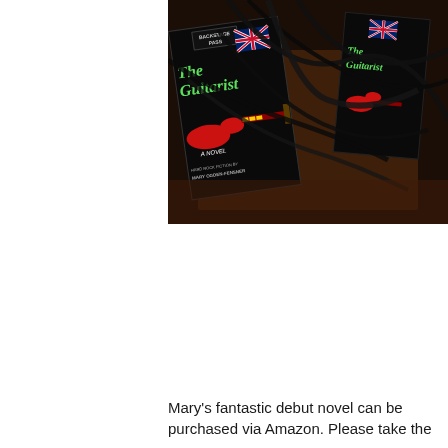[Figure (photo): Multiple copies of a book titled 'The Guitarist: A Novel' by Mary Ogden-Fensner, showing the book covers with a red electric guitar and British Union Jack flag design, surrounded by black cables/lanyards on a dark surface.]
Mary's fantastic debut novel can be purchased via Amazon. Please take the